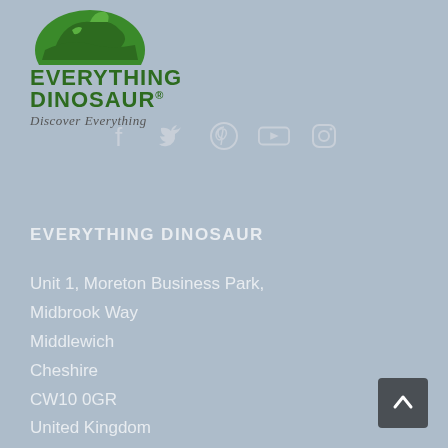[Figure (logo): Everything Dinosaur logo with green dinosaur graphic, bold green text 'EVERYTHING DINOSAUR®' and italic tagline 'Discover Everything']
[Figure (infographic): Social media icons: Facebook, Twitter, Pinterest, YouTube, Instagram displayed in a row in light grey/white color]
EVERYTHING DINOSAUR
Unit 1, Moreton Business Park,
Midbrook Way
Middlewich
Cheshire
CW10 0GR
United Kingdom